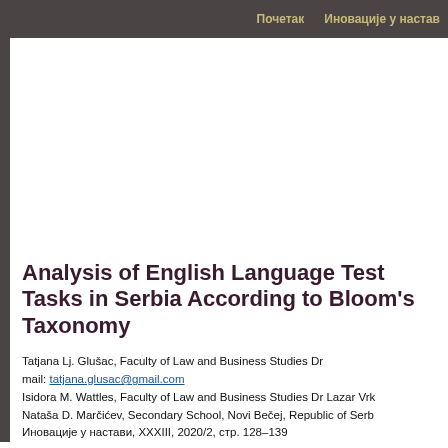Почетак   Иновације у настав
Analysis of English Language Test Tasks in Serbia According to Bloom's Taxonomy
Tatjana Lj. Glušac, Faculty of Law and Business Studies Dr mail: tatjana.glusac@gmail.com
Isidora M. Wattles, Faculty of Law and Business Studies Dr Lazar Vrk
Nataša D. Marčićev, Secondary School, Novi Bečej, Republic of Serb
Иновације у настави, XXXIII, 2020/2, стр. 128–139